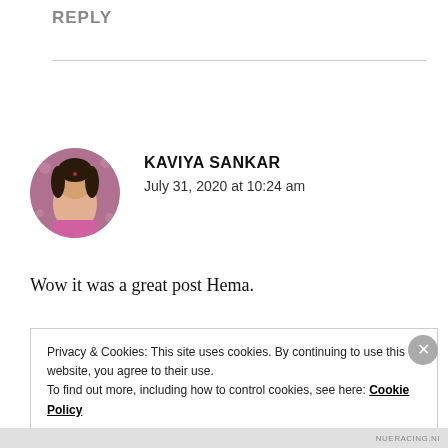REPLY
[Figure (photo): Circular avatar photo of Kaviya Sankar, a woman in pink clothing with decorative background]
KAVIYA SANKAR
July 31, 2020 at 10:24 am
Wow it was a great post Hema.
Privacy & Cookies: This site uses cookies. By continuing to use this website, you agree to their use.
To find out more, including how to control cookies, see here: Cookie Policy
Close and accept
NUERACING.NI